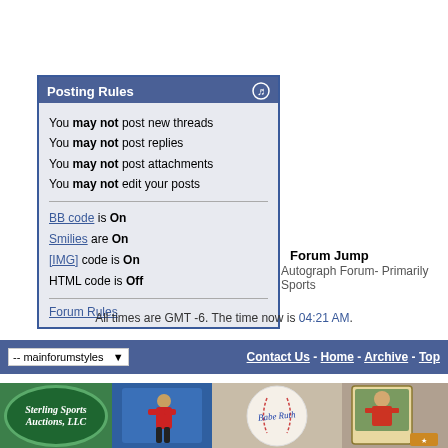Posting Rules
You may not post new threads
You may not post replies
You may not post attachments
You may not edit your posts
BB code is On
Smilies are On
[IMG] code is On
HTML code is Off
Forum Rules
Forum Jump
Autograph Forum- Primarily Sports
All times are GMT -6. The time now is 04:21 AM.
-- mainforumstyles   Contact Us - Home - Archive - Top
[Figure (illustration): Sterling Sports Auctions LLC banner with sports cards and autographed baseball imagery]